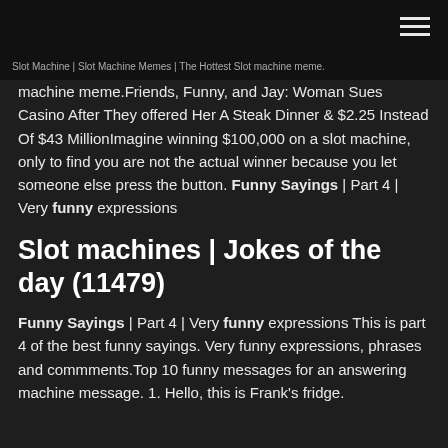Slot Machine | Slot Machine Memes | The Hottest Slot machine meme.
machine meme.Friends, Funny, and Jay: Woman Sues Casino After They offered Her A Steak Dinner & $2.25 Instead Of $43 MillionImagine winning $100,000 on a slot machine, only to find you are not the actual winner because you let someone else press the button. Funny Sayings | Part 4 | Very funny expressions
Slot machines | Jokes of the day (11479)
Funny Sayings | Part 4 | Very funny expressions This is part 4 of the best funny sayings. Very funny expressions, phrases and commments.Top 10 funny messages for an answering machine message. 1. Hello, this is Frank's fridge.